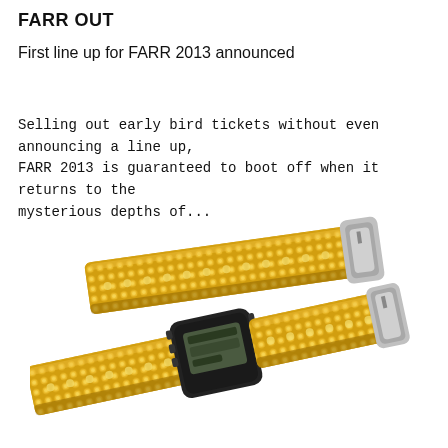FARR OUT
First line up for FARR 2013 announced
Selling out early bird tickets without even announcing a line up, FARR 2013 is guaranteed to boot off when it returns to the mysterious depths of...
[Figure (photo): Two Casio G-Shock digital watches with gold/yellow crystal-studded straps with small white dots, one open showing the buckle end and one closed showing the watch face with black casing and LCD display.]